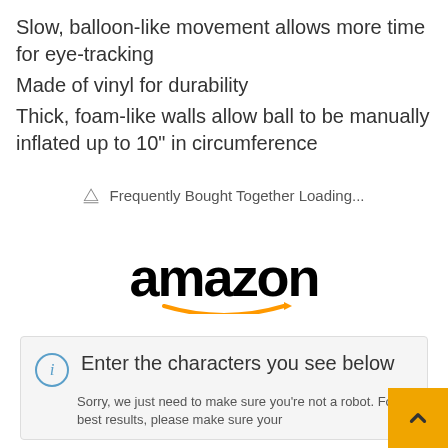Slow, balloon-like movement allows more time for eye-tracking
Made of vinyl for durability
Thick, foam-like walls allow ball to be manually inflated up to 10" in circumference
Frequently Bought Together Loading...
[Figure (logo): Amazon logo with orange arrow]
Enter the characters you see below
Sorry, we just need to make sure you're not a robot. For best results, please make sure your